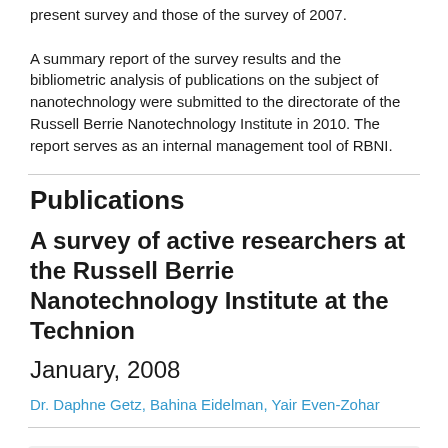present survey and those of the survey of 2007.
A summary report of the survey results and the bibliometric analysis of publications on the subject of nanotechnology were submitted to the directorate of the Russell Berrie Nanotechnology Institute in 2010. The report serves as an internal management tool of RBNI.
Publications
A survey of active researchers at the Russell Berrie Nanotechnology Institute at the Technion
January, 2008
Dr. Daphne Getz, Bahina Eidelman, Yair Even-Zohar
Tags: Human Capital Higher Education Academic Research